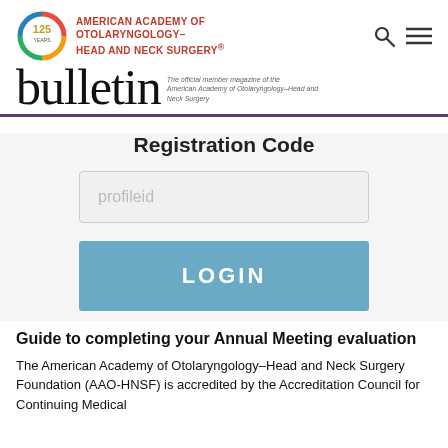[Figure (logo): American Academy of Otolaryngology-Head and Neck Surgery 125 Years logo with circular badge and red text organization name]
bulletin — The official member magazine of the American Academy of Otolaryngology–Head and Neck Surgery
Registration Code
[Figure (screenshot): Text input field with placeholder text 'profileid']
[Figure (screenshot): Blue LOGIN button]
Guide to completing your Annual Meeting evaluation
The American Academy of Otolaryngology–Head and Neck Surgery Foundation (AAO-HNSF) is accredited by the Accreditation Council for Continuing Medical